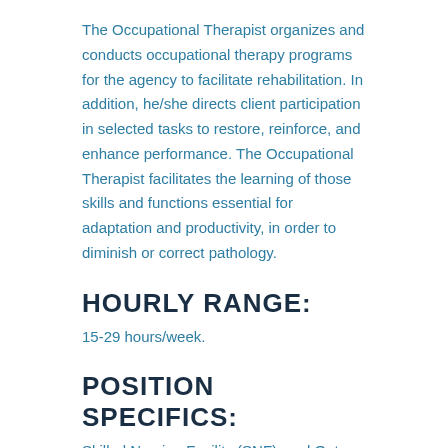The Occupational Therapist organizes and conducts occupational therapy programs for the agency to facilitate rehabilitation. In addition, he/she directs client participation in selected tasks to restore, reinforce, and enhance performance. The Occupational Therapist facilitates the learning of those skills and functions essential for adaptation and productivity, in order to diminish or correct pathology.
HOURLY RANGE:
15-29 hours/week.
POSITION SPECIFICS:
Skilled Nursing Facility (SNF), and Out Patient